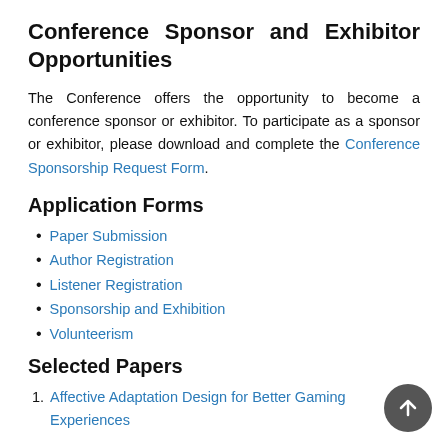Conference Sponsor and Exhibitor Opportunities
The Conference offers the opportunity to become a conference sponsor or exhibitor. To participate as a sponsor or exhibitor, please download and complete the Conference Sponsorship Request Form.
Application Forms
Paper Submission
Author Registration
Listener Registration
Sponsorship and Exhibition
Volunteerism
Selected Papers
Affective Adaptation Design for Better Gaming Experiences